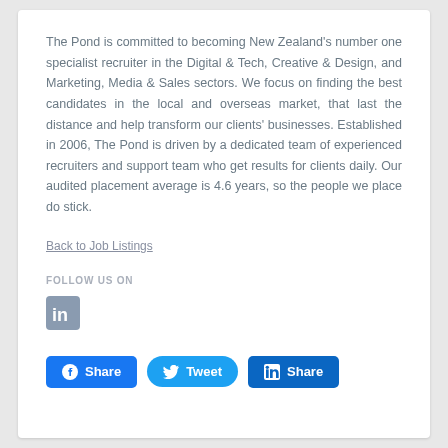The Pond is committed to becoming New Zealand's number one specialist recruiter in the Digital & Tech, Creative & Design, and Marketing, Media & Sales sectors. We focus on finding the best candidates in the local and overseas market, that last the distance and help transform our clients' businesses. Established in 2006, The Pond is driven by a dedicated team of experienced recruiters and support team who get results for clients daily. Our audited placement average is 4.6 years, so the people we place do stick.
Back to Job Listings
FOLLOW US ON
[Figure (logo): LinkedIn icon button — grey square with 'in' logo]
[Figure (infographic): Social share buttons: Facebook Share (blue), Twitter Tweet (light blue rounded), LinkedIn Share (dark blue)]